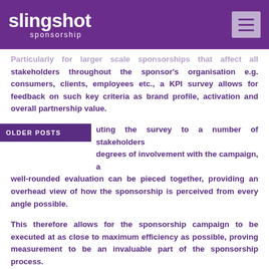slingshot sponsorship
Particularly for larger scale sponsorships that affect all stakeholders throughout the sponsor's organisation e.g. consumers, clients, employees etc., a KPI survey allows for feedback on such key criteria as brand profile, activation and overall partnership value.
OLDER POSTS — ...uting the survey to a number of stakeholders degrees of involvement with the campaign, a well-rounded evaluation can be pieced together, providing an overhead view of how the sponsorship is perceived from every angle possible.
This therefore allows for the sponsorship campaign to be executed at as close to maximum efficiency as possible, proving measurement to be an invaluable part of the sponsorship process.
The State of Measurement Today